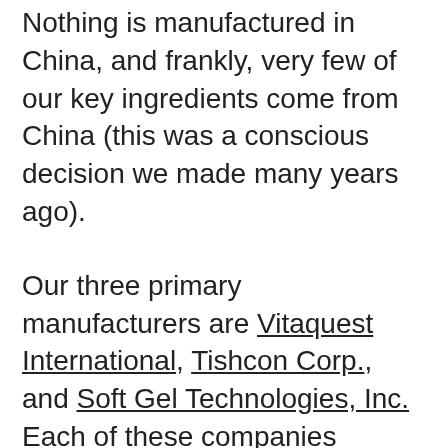Nothing is manufactured in China, and frankly, very few of our key ingredients come from China (this was a conscious decision we made many years ago).
Our three primary manufacturers are Vitaquest International, Tishcon Corp., and Soft Gel Technologies, Inc. Each of these companies facilities have been certified by the independent NSF International for meeting or exceeding FDA good manufacturing practices (GMPs).
These three industry leaders take great care to ensure that NatureCity products have the expected nutrient levels and meet all standards for unwanted like heavy metals, harmful